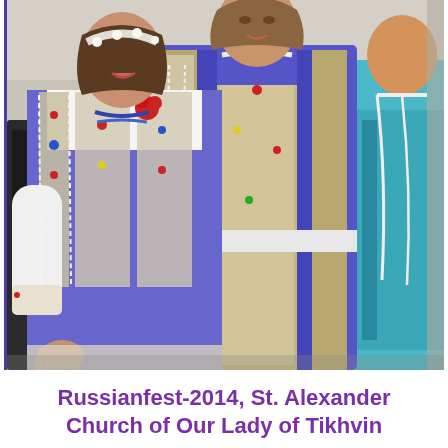[Figure (photo): Three people wearing traditional Russian folk costumes (sarafans) with blue and white embroidered fabric decorated with colorful gems and pearls. The person on the left wears a white blouse under a blue/white sarafan with red floral headpiece. The center person wears a richly decorated blue brocade outfit with a white belt. Partially visible on the right is a person in a light blue dress with pearl necklace. They are standing under a tent/canopy at an outdoor festival.]
Russianfest-2014, St. Alexander Church of Our Lady of Tikhvin